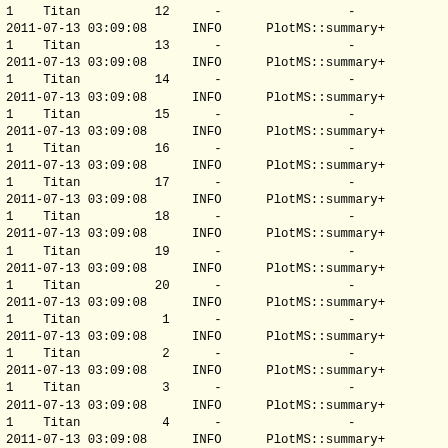1    Titan          12      -                 -
2011-07-13 03:09:08      INFO      PlotMS::summary+
1    Titan          13      -                 -
2011-07-13 03:09:08      INFO      PlotMS::summary+
1    Titan          14      -                 -
2011-07-13 03:09:08      INFO      PlotMS::summary+
1    Titan          15      -                 -
2011-07-13 03:09:08      INFO      PlotMS::summary+
1    Titan          16      -                 -
2011-07-13 03:09:08      INFO      PlotMS::summary+
1    Titan          17      -                 -
2011-07-13 03:09:08      INFO      PlotMS::summary+
1    Titan          18      -                 -
2011-07-13 03:09:08      INFO      PlotMS::summary+
1    Titan          19      -                 -
2011-07-13 03:09:08      INFO      PlotMS::summary+
1    Titan          20      -                 -
2011-07-13 03:09:08      INFO      PlotMS::summary+
1    Titan           1      -                 -
2011-07-13 03:09:08      INFO      PlotMS::summary+
1    Titan           2      -                 -
2011-07-13 03:09:08      INFO      PlotMS::summary+
1    Titan           3      -                 -
2011-07-13 03:09:08      INFO      PlotMS::summary+
1    Titan           4      -                 -
2011-07-13 03:09:08      INFO      PlotMS::summary+
0    Titan           5      -                 -
2011-07-13 03:09:08      INFO      PlotMS::summary+
0    Titan           6      -                 -
2011-07-13 03:09:08      INFO      PlotMS::summary+
0    Titan           7      -                 -
2011-07-13 03:09:08      INFO      PlotMS::summary+
0    Titan           8